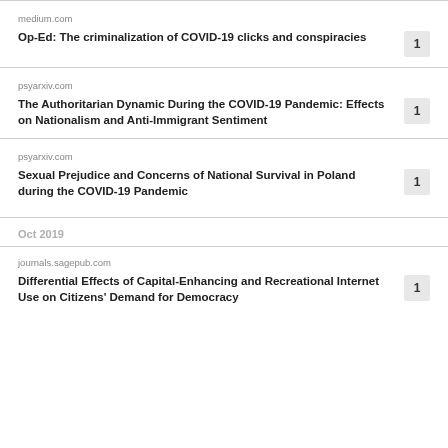medium.com
Op-Ed: The criminalization of COVID-19 clicks and conspiracies
psyarxiv.com
The Authoritarian Dynamic During the COVID-19 Pandemic: Effects on Nationalism and Anti-Immigrant Sentiment
psyarxiv.com
Sexual Prejudice and Concerns of National Survival in Poland during the COVID-19 Pandemic
Oct 2019
journals.sagepub.com
Differential Effects of Capital-Enhancing and Recreational Internet Use on Citizens' Demand for Democracy